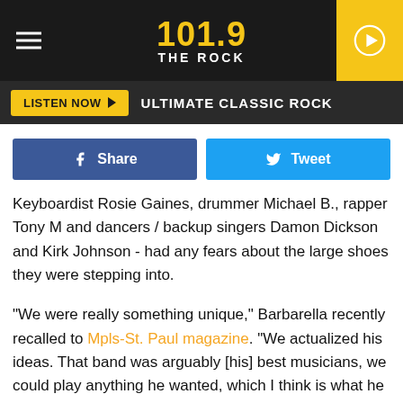101.9 THE ROCK
LISTEN NOW  ULTIMATE CLASSIC ROCK
Share  Tweet
Keyboardist Rosie Gaines, drummer Michael B., rapper Tony M and dancers / backup singers Damon Dickson and Kirk Johnson - had any fears about the large shoes they were stepping into.
"We were really something unique," Barbarella recently recalled to Mpls-St. Paul magazine. "We actualized his ideas. That band was arguably [his] best musicians, we could play anything he wanted, which I think is what he really liked. He wrote some crazy stuff... anything he thought of, we could do."